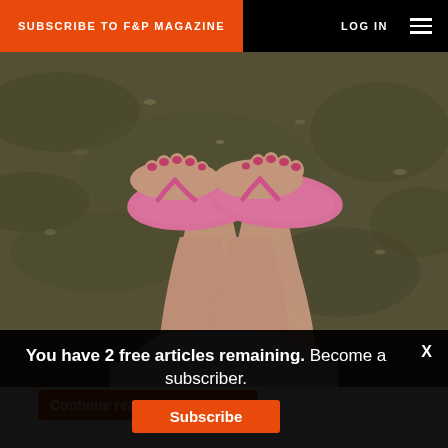SUBSCRIBE TO F&P MAGAZINE   LOG IN
[Figure (photo): Overhead view of a person's legs and feet wearing pink flip-flop sandals with pink toenails, standing on green grass. The image has a warm, slightly desaturated vintage tone.]
You have 2 free articles remaining. Become a subscriber.
Subscribe